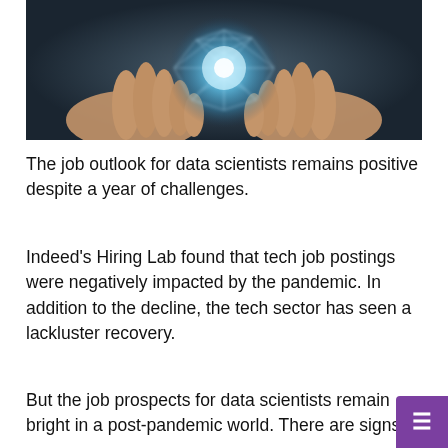[Figure (photo): Hands holding a glowing blue-white network sphere/globe made of interconnected light strands, against a dark background]
The job outlook for data scientists remains positive despite a year of challenges.
Indeed's Hiring Lab found that tech job postings were negatively impacted by the pandemic. In addition to the decline, the tech sector has seen a lackluster recovery.
But the job prospects for data scientists remain bright in a post-pandemic world. There are signs